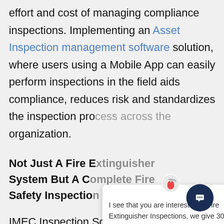effort and cost of managing compliance inspections. Implementing an Asset Inspection management software solution, where users using a Mobile App can easily perform inspections in the field aids compliance, reduces risk and standardizes the inspection process across the organization.
Not Just A Fire Extinguisher System But A Complete Fire Safety Inspection System
IMEC Inspection Software can be deployed as a full Fire Life Safety Inspection Software solution that can be used to manage an
[Figure (screenshot): Chat popup overlay showing a fire extinguisher icon/avatar and message: 'I see that you are interested in Fire Extinguisher Inspections, we give 30 minute No Obligation Demonstrations, would you be interested in a Demo?' with a close X button, and a dark blue chat launcher button in the bottom right corner.]